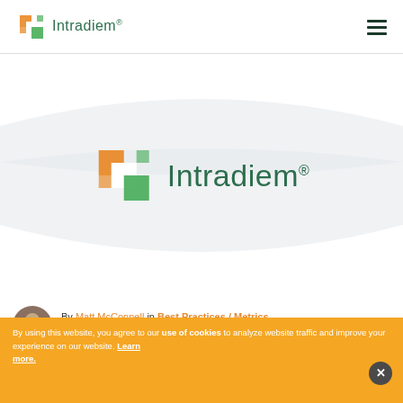Intradiem® [logo header]
[Figure (logo): Intradiem logo centered in hero section with wave background]
By Matt McConnell in Best Practices / Metrics on Nov 19, 2012
By using this website, you agree to our use of cookies to analyze website traffic and improve your experience on our website. Learn more.